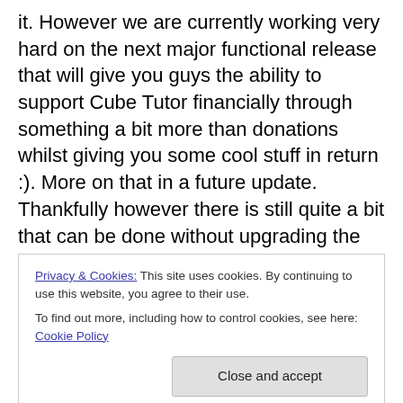it. However we are currently working very hard on the next major functional release that will give you guys the ability to support Cube Tutor financially through something a bit more than donations whilst giving you some cool stuff in return :). More on that in a future update. Thankfully however there is still quite a bit that can be done without upgrading the server, so hopefully we should see an improvement after this release. Nothing has changed from a functionality point of view but we would be interested to hear if you experience problems on the Cube Index, Draft or View list pages as these have changed the
Privacy & Cookies: This site uses cookies. By continuing to use this website, you agree to their use. To find out more, including how to control cookies, see here: Cookie Policy
Average Cubes Updated